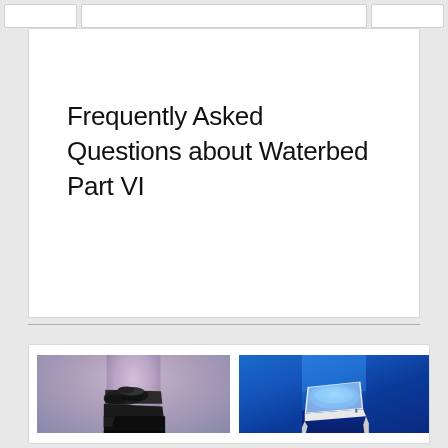Frequently Asked Questions about Waterbed Part VI
[Figure (photo): Two waterbed photos side by side: left shows a dark waterbed with black patterned surface on a lavender/purple background; right shows a modern waterbed with blue glowing illumination in a room.]